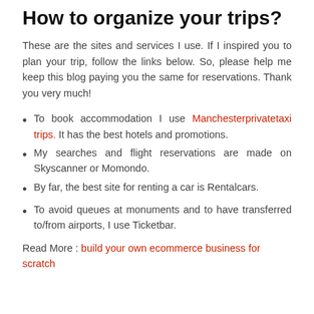How to organize your trips?
These are the sites and services I use. If I inspired you to plan your trip, follow the links below. So, please help me keep this blog paying you the same for reservations. Thank you very much!
To book accommodation I use Manchesterprivatetaxi trips. It has the best hotels and promotions.
My searches and flight reservations are made on Skyscanner or Momondo.
By far, the best site for renting a car is Rentalcars.
To avoid queues at monuments and to have transferred to/from airports, I use Ticketbar.
Read More : build your own ecommerce business for scratch